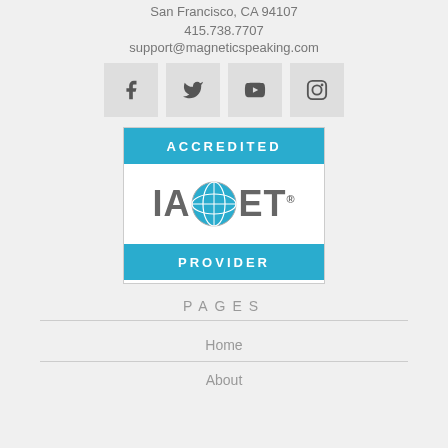San Francisco, CA 94107
415.738.7707
support@magneticspeaking.com
[Figure (illustration): Social media icons: Facebook, Twitter, YouTube, Instagram in gray square buttons]
[Figure (logo): IACET Accredited Provider logo with blue banner and globe graphic]
PAGES
Home
About